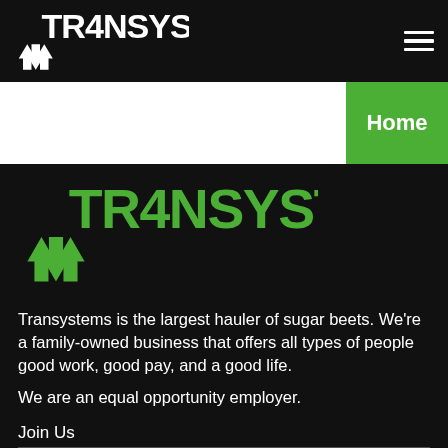TRANSYSTEMS (logo, nav bar)
Home
[Figure (logo): TRANSYSTEMS green logo with arrows graphic]
Transystems is the largest hauler of sugar beets. We're a family-owned business that offers all types of people good work, good pay, and a good life.
We are an equal opportunity employer.
Join Us
Open Positions
Apply Now